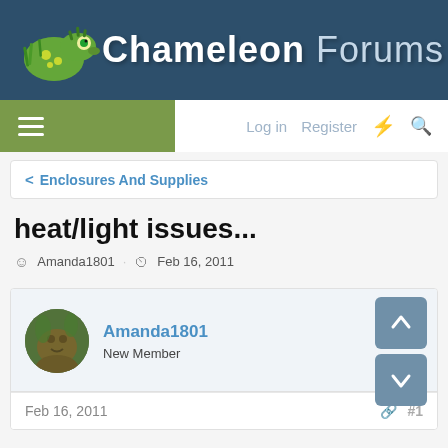Chameleon Forums
Log in  Register
< Enclosures And Supplies
heat/light issues...
Amanda1801 · Feb 16, 2011
Amanda1801
New Member
Feb 16, 2011  #1